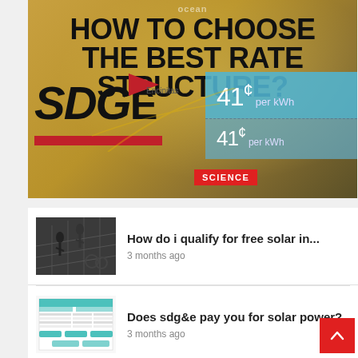[Figure (screenshot): SDG&E promotional image asking 'How To Choose The Best Rate Structure?' with SDGE logo, rate boxes showing 41¢ per kWh, and a Science badge overlay with article title 'What Is The Best Sdge Plan For Solar?']
What Is The Best Sdge Plan For Solar?
[Figure (photo): Workers installing solar panels on a rooftop, black and white photo]
How do i qualify for free solar in...
3 months ago
[Figure (screenshot): Chart or document screenshot related to SDG&E solar billing with teal/green highlights]
Does sdg&e pay you for solar power?
3 months ago